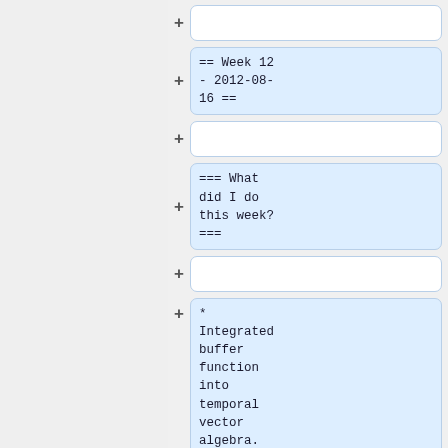+ [empty box]
== Week 12 - 2012-08-16 ==
+ [empty box]
=== What did I do this week? ===
+ [empty box]
* Integrated buffer function into temporal vector algebra.